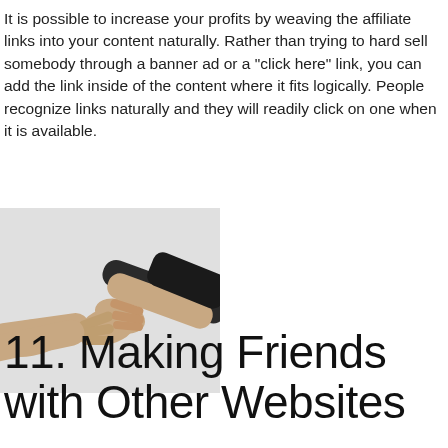It is possible to increase your profits by weaving the affiliate links into your content naturally. Rather than trying to hard sell somebody through a banner ad or a "click here" link, you can add the link inside of the content where it fits logically. People recognize links naturally and they will readily click on one when it is available.
[Figure (photo): Two people shaking hands against a light gray background, photographed from the side showing forearms and clasped hands.]
11. Making Friends with Other Websites